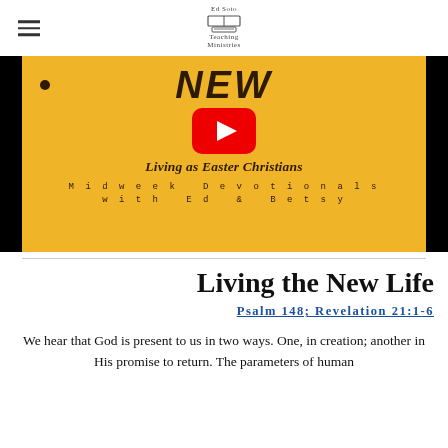Ed Soto Teaching Ministries
[Figure (screenshot): YouTube video thumbnail for 'Living as Easter Christians — Midweek Devotionals with Ed & Betsy'. Yellow background with dark handwritten 'NEW' text, a bullet point, a red YouTube play button, italic serif subtitle 'Living as Easter Christians', and spaced monospace text 'Midweek Devotionals with Ed & Betsy'.]
Living the New Life
Psalm 148; Revelation 21:1-6
We hear that God is present to us in two ways. One, in creation; another in His promise to return. The parameters of human